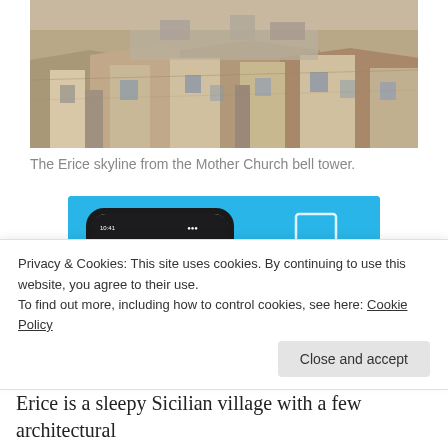[Figure (photo): Aerial view of Erice rooftops from the Mother Church bell tower, showing tiled stone rooftops of a Sicilian village]
The Erice skyline from the Mother Church bell tower.
[Figure (screenshot): DayOne app advertisement showing a smartphone with the DayOne journal app interface, with text 'DAY ONE' and 'Your Journal for life' on a light blue background]
Privacy & Cookies: This site uses cookies. By continuing to use this website, you agree to their use.
To find out more, including how to control cookies, see here: Cookie Policy
Erice is a sleepy Sicilian village with a few architectural